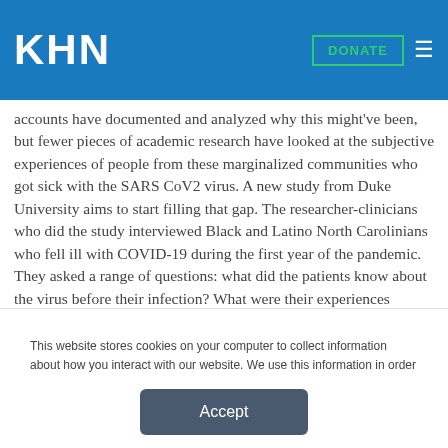KHN | DONATE
accounts have documented and analyzed why this might've been, but fewer pieces of academic research have looked at the subjective experiences of people from these marginalized communities who got sick with the SARS CoV2 virus. A new study from Duke University aims to start filling that gap. The researcher-clinicians who did the study interviewed Black and Latino North Carolinians who fell ill with COVID-19 during the first year of the pandemic. They asked a range of questions: what did the patients know about the virus before their infection? What were their experiences getting tested and
This website stores cookies on your computer to collect information about how you interact with our website. We use this information in order to improve and customize your browsing experience and for analytics and metrics about our visitors both on this website and other media. To find out more about the cookies we use, see our Privacy Policy.
Accept